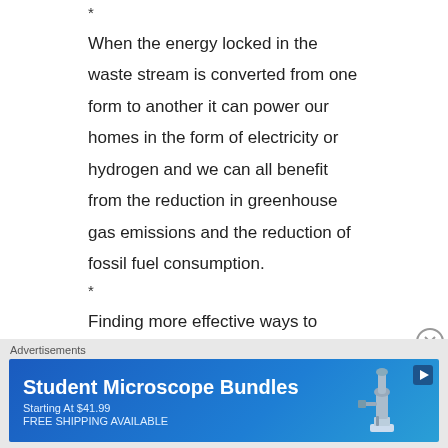*
When the energy locked in the waste stream is converted from one form to another it can power our homes in the form of electricity or hydrogen and we can all benefit from the reduction in greenhouse gas emissions and the reduction of fossil fuel consumption.
*
Finding more effective ways to distribute electricity is also critical to solving the worldwide energy problem. Ageing transmission lines break down more frequently and are creating longer
Advertisements
[Figure (other): Advertisement banner for Student Microscope Bundles Starting At $41.99 FREE SHIPPING AVAILABLE with microscope image and play button]